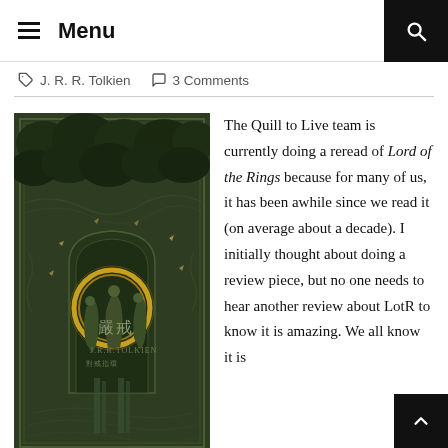Menu
J. R. R. Tolkien    3 Comments
[Figure (photo): Book cover of Lord of the Rings in Chinese edition — dark green background with ornate illustrated figures, trees, a golden ring, and Chinese characters]
The Quill to Live team is currently doing a reread of Lord of the Rings because for many of us, it has been awhile since we read it (on average about a decade). I initially thought about doing a review piece, but no one needs to hear another review about LotR to know it is amazing. We all know it is